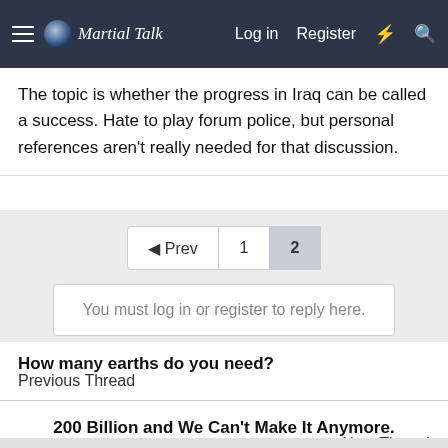Martial Talk — Log in  Register
The topic is whether the progress in Iraq can be called a success. Hate to play forum police, but personal references aren't really needed for that discussion.
◄ Prev  1  2
You must log in or register to reply here.
How many earths do you need?
Previous Thread
200 Billion and We Can't Make It Anymore.
Next Thread